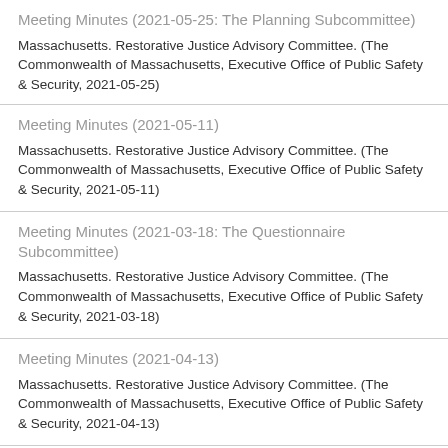Meeting Minutes (2021-05-25: The Planning Subcommittee)
Massachusetts. Restorative Justice Advisory Committee. (The Commonwealth of Massachusetts, Executive Office of Public Safety & Security, 2021-05-25)
Meeting Minutes (2021-05-11)
Massachusetts. Restorative Justice Advisory Committee. (The Commonwealth of Massachusetts, Executive Office of Public Safety & Security, 2021-05-11)
Meeting Minutes (2021-03-18: The Questionnaire Subcommittee)
Massachusetts. Restorative Justice Advisory Committee. (The Commonwealth of Massachusetts, Executive Office of Public Safety & Security, 2021-03-18)
Meeting Minutes (2021-04-13)
Massachusetts. Restorative Justice Advisory Committee. (The Commonwealth of Massachusetts, Executive Office of Public Safety & Security, 2021-04-13)
Meeting Minutes (2021-03-23: The Planning